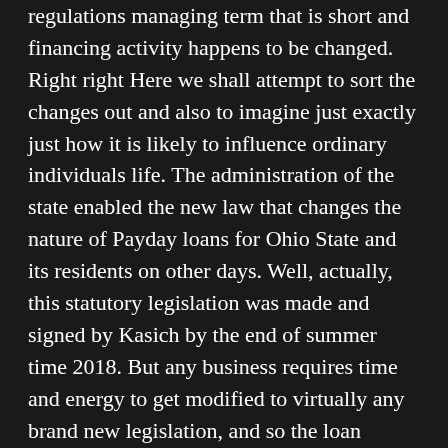regulations managing term that is short and financing activity happens to be changed. Right right Here we shall attempt to sort the changes out and also to imagine just exactly just how it is likely to influence ordinary individuals life. The administration of the state enabled the new law that changes the nature of Payday loans for Ohio State and its residents on other days. Well, actually, this statutory legislation was made and signed by Kasich by the end of summer time 2018. But any business requires time and energy to get modified to virtually any brand new legislation, and so the loan providers had this time around. But final thirty days the long-waited legislation finally sprang into action. So what does this mean for ordinary individuals looking for a choice to obtain Ohio advance loan? A number of the politicians additionally the part that is most of loan providers disapprove the brand new bill